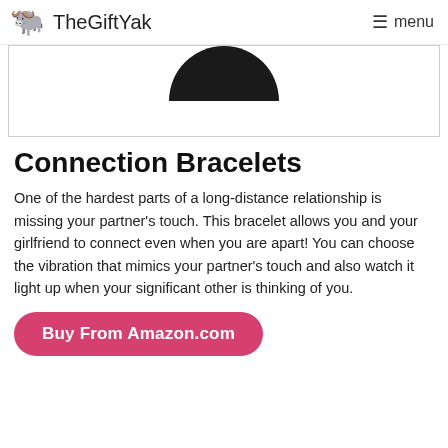TheGiftYak   menu
[Figure (photo): Partial product image showing the top portion of a dark/black connection bracelet against a white background, with a bordered frame.]
Connection Bracelets
One of the hardest parts of a long-distance relationship is missing your partner's touch. This bracelet allows you and your girlfriend to connect even when you are apart! You can choose the vibration that mimics your partner's touch and also watch it light up when your significant other is thinking of you.
Buy From Amazon.com